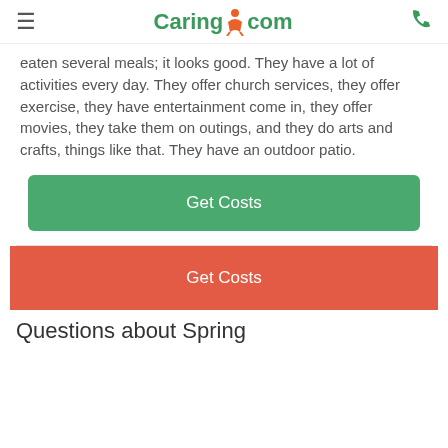Caring.com
eaten several meals; it looks good. They have a lot of activities every day. They offer church services, they offer exercise, they have entertainment come in, they offer movies, they take them on outings, and they do arts and crafts, things like that. They have an outdoor patio.
Get Costs
Get Costs
Questions about Spring